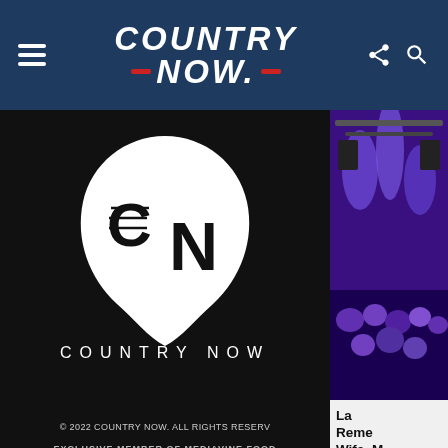Country Now - navigation bar with hamburger menu, Country Now logo, share and search icons
[Figure (logo): Country Now logo: white guitar pick shape with CN letters on black background, COUNTRY NOW text below]
[Figure (photo): Concert scene with purple/blue lighting, stage equipment visible]
© 2022 COUNTRY NOW. ALL RIGHTS RESERV
EXCLUSIVE MEMBER OF MEDIAVINE FOOD
BACK TO TOP ^
Lam Reme Wife, M Shares Sh